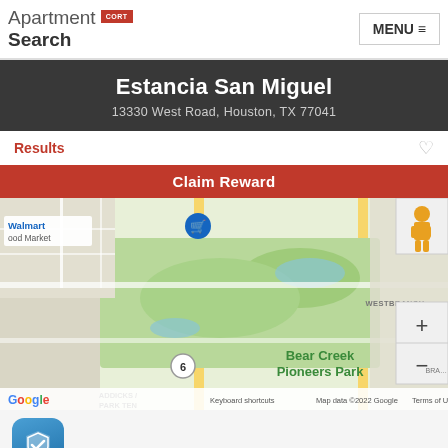[Figure (logo): Apartment Search CORT logo with red square badge]
MENU ≡
Estancia San Miguel
13330 West Road, Houston, TX 77041
Results
Claim Reward
[Figure (map): Google Maps view showing Bear Creek Pioneers Park area in Houston TX near 13330 West Road. Shows Walmart Food Market, ADDICKS/PARK TEN, NORTHWEST HOUSTON, WESTBRANCH labels. Map data ©2022 Google.]
[Figure (logo): Blue shield with checkmark icon]